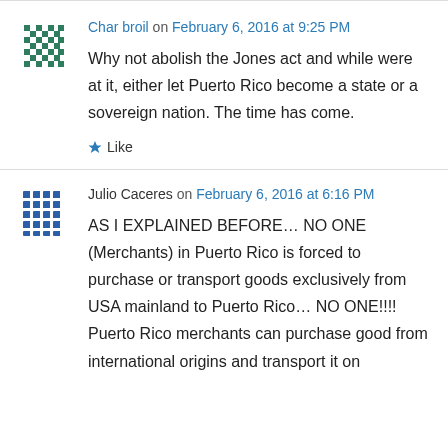[Figure (illustration): Avatar icon with diamond/snowflake pattern in dark teal/green]
Char broil on February 6, 2016 at 9:25 PM
Why not abolish the Jones act and while were at it, either let Puerto Rico become a state or a sovereign nation. The time has come.
Like
[Figure (illustration): Avatar icon with grid/tile pattern in blue]
Julio Caceres on February 6, 2016 at 6:16 PM
AS I EXPLAINED BEFORE... NO ONE (Merchants) in Puerto Rico is forced to purchase or transport goods exclusively from USA mainland to Puerto Rico... NO ONE!!!! Puerto Rico merchants can purchase good from international origins and transport it on